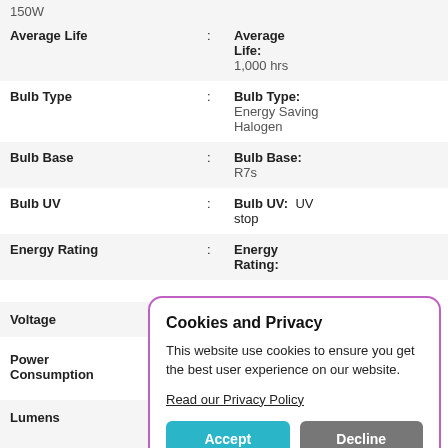| Property | : | Value |
| --- | --- | --- |
|  |  | 150W |
| Average Life | : | Average Life:
1,000 hrs |
| Bulb Type | : | Bulb Type:
Energy Saving Halogen |
| Bulb Base | : | Bulb Base:
R7s |
| Bulb UV | : | Bulb UV:  UV stop |
| Energy Rating | : | Energy Rating: |
Voltage
Power Consumption
Lumens
[Figure (screenshot): Cookies and Privacy modal dialog with Accept and Decline buttons. Text: 'This website use cookies to ensure you get the best user experience on our website.' Link: 'Read our Privacy Policy'. Buttons: Accept (teal), Decline (gray).]